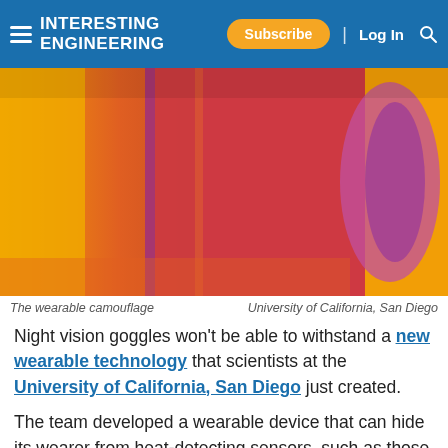INTERESTING ENGINEERING | Subscribe | Log In
[Figure (photo): Thermal infrared image showing heat signatures in yellow, orange, red, and purple tones — a wearable camouflage demonstration.]
The wearable camouflage    University of California, San Diego
Night vision goggles won't be able to withstand a new wearable technology that scientists at the University of California, San Diego just created.
The team developed a wearable device that can hide its wearer from heat-detecting sensors, such as those found in night vision goggles. Even if the ambient